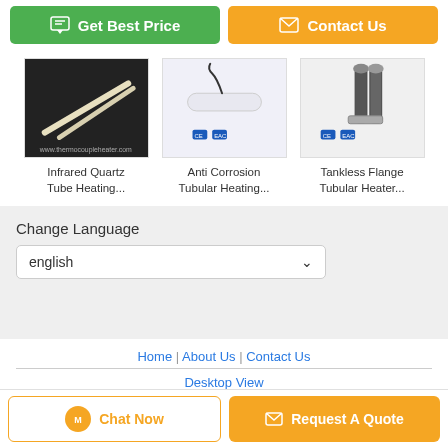[Figure (other): Get Best Price button (green) and Contact Us button (orange) at the top]
[Figure (photo): Infrared Quartz Tube Heating product photo]
Infrared Quartz Tube Heating...
[Figure (photo): Anti Corrosion Tubular Heating product photo]
Anti Corrosion Tubular Heating...
[Figure (photo): Tankless Flange Tubular Heater product photo]
Tankless Flange Tubular Heater...
Change Language
english
Home | About Us | Contact Us
Desktop View
Copyright © 2016 - 2022 thermocoupleheater.com. All rights reserved.
[Figure (other): Chat Now button and Request A Quote button at the bottom]